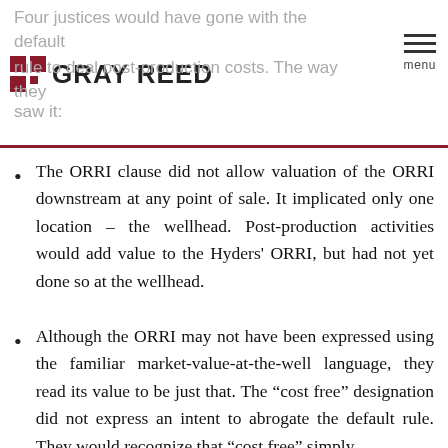Four justices would have gone with the default rule to deal post-production costs. The way they saw it:
The ORRI clause did not allow valuation of the ORRI downstream at any point of sale. It implicated only one location – the wellhead. Post-production activities would add value to the Hyders' ORRI, but had not yet done so at the wellhead.
Although the ORRI may not have been expressed using the familiar market-value-at-the-well language, they read its value to be just that. The “cost free” designation did not express an intent to abrogate the default rule. They would recognize that “cost free” simply